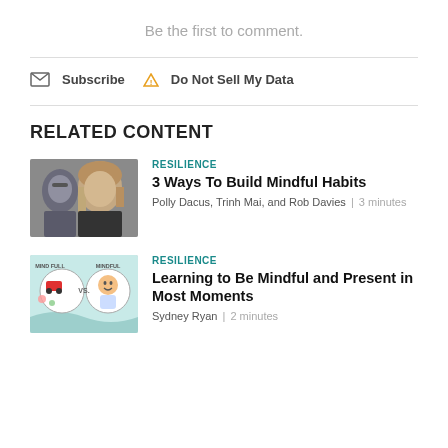Be the first to comment.
Subscribe  Do Not Sell My Data
RELATED CONTENT
[Figure (photo): Woman with blonde hair, eyes closed, appears to be meditating or practicing mindfulness. A person with glasses is visible in the background.]
RESILIENCE
3 Ways To Build Mindful Habits
Polly Dacus, Trinh Mai, and Rob Davies | 3 minutes
[Figure (illustration): Illustrated graphic showing 'mindful vs mindful' concept with cartoon drawings of a person, car, and thought bubbles on a light teal background.]
RESILIENCE
Learning to Be Mindful and Present in Most Moments
Sydney Ryan | 2 minutes